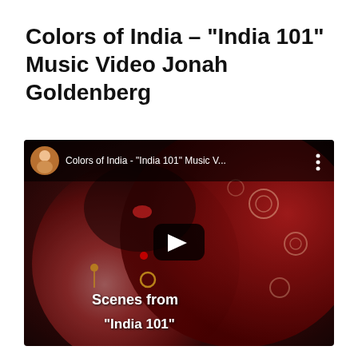Colors of India – “India 101” Music Video Jonah Goldenberg
[Figure (screenshot): YouTube video thumbnail showing a close-up of an Indian woman in red bridal attire with nose ring and jewelry, with text overlay 'Scenes from "India 101"'. Top bar shows video title 'Colors of India - "India 101" Music V...' with a circular avatar and three-dot menu. A YouTube play button is centered on the image.]